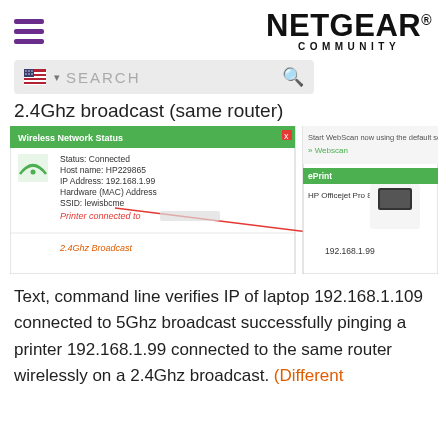NETGEAR® COMMUNITY
[Figure (screenshot): Search bar with US flag icon and magnifying glass, showing placeholder text SEARCH]
2.4Ghz broadcast (same router)
[Figure (screenshot): Screenshot showing Wireless Network Status window with Status: Connected, Host name: HP229865, IP Address: 192.168.1.99, Hardware (MAC) Address, SSID: lewisbcme, and red arrow annotation 'Printer connected to' pointing to 192.168.1.99. Also shows ePrint panel with HP Officejet Pro 8600 N911g. Caption: 2.4Ghz Broadcast]
Text, command line verifies IP of laptop 192.168.1.109 connected to 5Ghz broadcast successfully pinging a printer 192.168.1.99 connected to the same router wirelessly on a 2.4Ghz broadcast. (Different